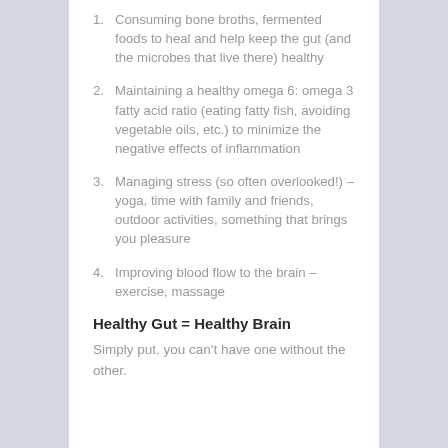1. Consuming bone broths, fermented foods to heal and help keep the gut (and the microbes that live there) healthy
2. Maintaining a healthy omega 6: omega 3 fatty acid ratio (eating fatty fish, avoiding vegetable oils, etc.) to minimize the negative effects of inflammation
3. Managing stress (so often overlooked!) – yoga, time with family and friends, outdoor activities, something that brings you pleasure
4. Improving blood flow to the brain – exercise, massage
Healthy Gut = Healthy Brain
Simply put, you can't have one without the other.